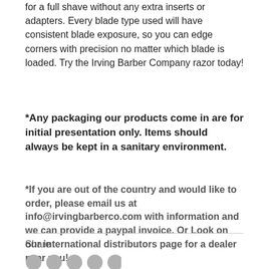for a full shave without any extra inserts or adapters. Every blade type used will have consistent blade exposure, so you can edge corners with precision no matter which blade is loaded. Try the Irving Barber Company razor today!
*Any packaging our products come in are for initial presentation only. Items should always be kept in a sanitary environment.
*If you are out of the country and would like to order, please email us at info@irvingbarberco.com with information and we can provide a paypal invoice. Or Look on our international distributors page for a dealer near you!
Share